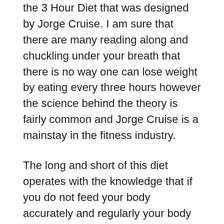the 3 Hour Diet that was designed by Jorge Cruise. I am sure that there are many reading along and chuckling under your breath that there is no way one can lose weight by eating every three hours however the science behind the theory is fairly common and Jorge Cruise is a mainstay in the fitness industry.
The long and short of this diet operates with the knowledge that if you do not feed your body accurately and regularly your body will go into what is called ‘starvation mode’. In this mode your body holds onto the fat rather than burning it up and consuming it for use. This means that your body is burning muscle rather than fat to take the energy it needs in order to function.
With the 3 Hour Diet you will not feel hungry all the time, in fact there are many who claims they are